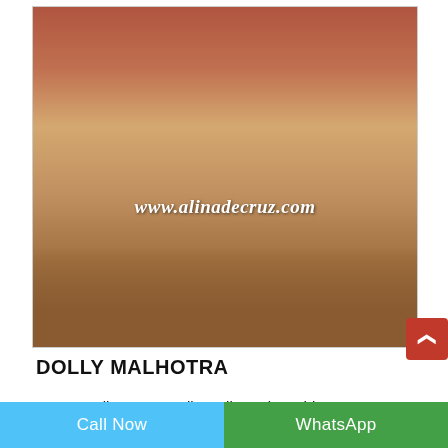[Figure (photo): Photo of a woman with pink-blonde hair wearing sunglasses and a beige dress with a black belt, standing in a hotel room. Watermark text 'www.alinadecruz.com' overlaid on the image.]
DOLLY MALHOTRA
Banaswadi Escorts Dolly Malhotra is an hi...
Call Now    WhatsApp